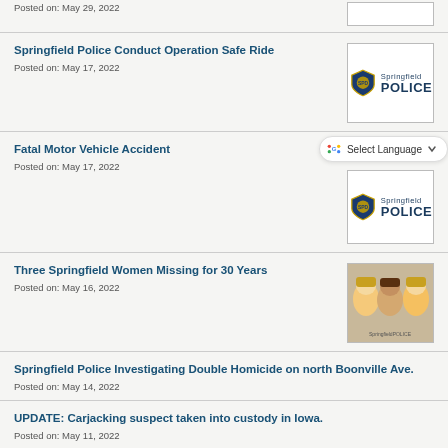Posted on: May 29, 2022
Springfield Police Conduct Operation Safe Ride
Posted on: May 17, 2022
Fatal Motor Vehicle Accident
Posted on: May 17, 2022
Three Springfield Women Missing for 30 Years
Posted on: May 16, 2022
Springfield Police Investigating Double Homicide on north Boonville Ave.
Posted on: May 14, 2022
UPDATE: Carjacking suspect taken into custody in Iowa.
Posted on: May 11, 2022